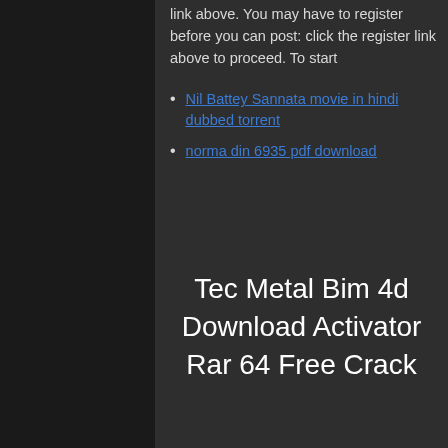link above. You may have to register before you can post: click the register link above to proceed. To start
Nil Battey Sannata movie in hindi dubbed torrent
norma din 6935 pdf download
Tec Metal Bim 4d Download Activator Rar 64 Free Crack